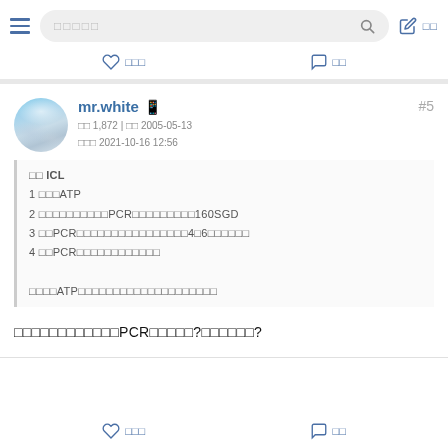Search navigation bar with hamburger menu, search box, and icons
mr.white 📱 #5 | 1,872 | 2005-05-13 | 2021-10-16 12:56
關於 ICL
1 需要做ATP
2 政府須要你做PCR測試費用大概160SGD
3 如PCR陰性入境後須要隔離4至6天不確定
4 如PCR陽性隔離至完全康復

我知ATP是什麼但唔知要做幾多次同喺邊度做
想知道係咪真的要做咁多次PCR測試？定係誤解？